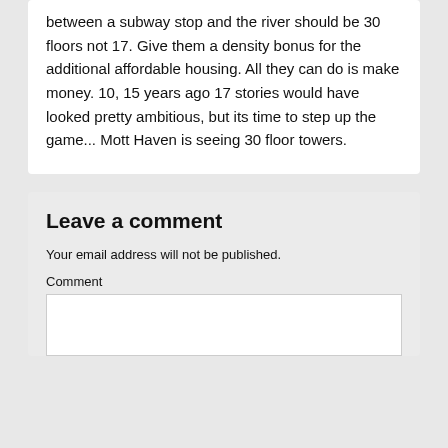between a subway stop and the river should be 30 floors not 17. Give them a density bonus for the additional affordable housing. All they can do is make money. 10, 15 years ago 17 stories would have looked pretty ambitious, but its time to step up the game... Mott Haven is seeing 30 floor towers.
Leave a comment
Your email address will not be published.
Comment